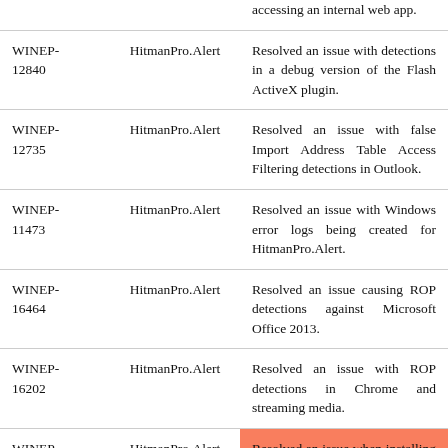| ID | Component | Description |
| --- | --- | --- |
| WINEP-12840 | HitmanPro.Alert | Resolved an issue with detections in a debug version of the Flash ActiveX plugin. |
| WINEP-12735 | HitmanPro.Alert | Resolved an issue with false Import Address Table Access Filtering detections in Outlook. |
| WINEP-11473 | HitmanPro.Alert | Resolved an issue with Windows error logs being created for HitmanPro.Alert. |
| WINEP-16464 | HitmanPro.Alert | Resolved an issue causing ROP detections against Microsoft Office 2013. |
| WINEP-16202 | HitmanPro.Alert | Resolved an issue with ROP detections in Chrome and streaming media. |
| WINEP-15832 | HitmanPro.Alert | Resolved an issue when installing Sophos Central Web Gateway. |